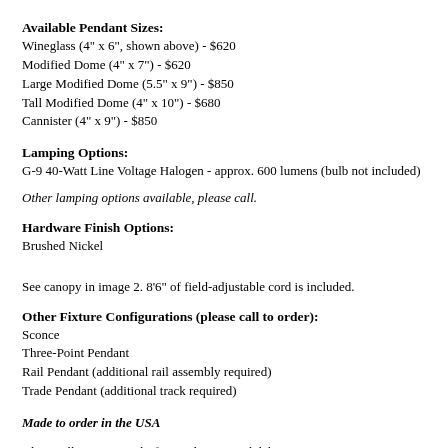Available Pendant Sizes:
Wineglass (4" x 6", shown above) - $620
Modified Dome (4" x 7") - $620
Large Modified Dome (5.5" x 9") - $850
Tall Modified Dome (4" x 10") - $680
Cannister (4" x 9") - $850
Lamping Options:
G-9 40-Watt Line Voltage Halogen  - approx. 600 lumens (bulb not included)
Other lamping options available, please call.
Hardware Finish Options:
Brushed Nickel
See canopy in image 2. 8'6" of field-adjustable cord is included.
Other Fixture Configurations (please call to order):
Sconce
Three-Point Pendant
Rail Pendant (additional rail assembly required)
Trade Pendant (additional track required)
Made to order in the USA
Please allow 8-12 weeks for production and delivery